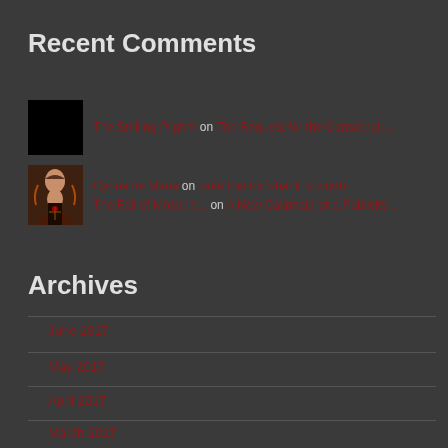Recent Comments
The Smiling Pilgrim on The Request for the Consecrati…
Cariña de Maria on Take this for what it is worth…
The Fall of Mosul: t… on A New Caliphate or a Publicity…
Archives
June 2017
May 2017
April 2017
March 2017